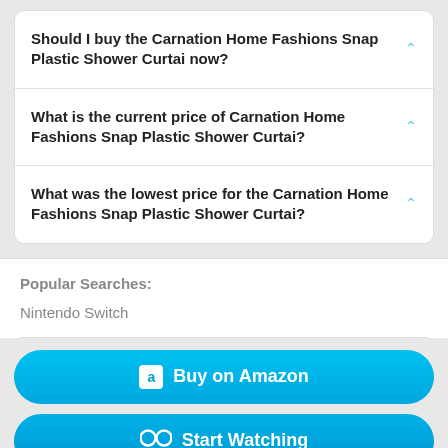Should I buy the Carnation Home Fashions Snap Plastic Shower Curtai now?
What is the current price of Carnation Home Fashions Snap Plastic Shower Curtai?
What was the lowest price for the Carnation Home Fashions Snap Plastic Shower Curtai?
Popular Searches:
Nintendo Switch
Buy on Amazon
Start Watching